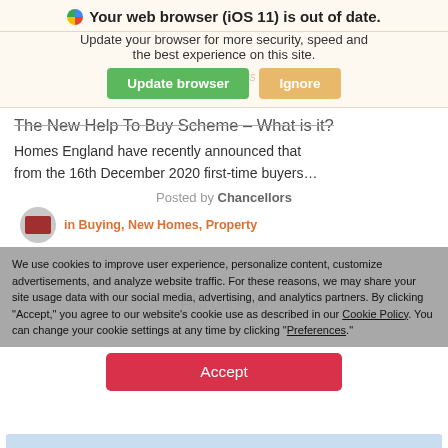Your web browser (iOS 11) is out of date.
Update your browser for more security, speed and the best experience on this site.
[Figure (screenshot): Update browser and Ignore buttons]
The New Help To Buy Scheme – What is it?
Homes England have recently announced that from the 16th December 2020 first-time buyers…
Posted by Chancellors
in Buying, New Homes, Property
We use cookies to improve user experience, personalize content, customize advertisements, and analyze website traffic. For these reasons, we may share your site usage data with our social media, advertising, and analytics partners. By clicking "Accept," you agree to our website's cookie use as described in our Cookie Policy. You can change your cookie settings at any time by clicking "Preferences."
Accept